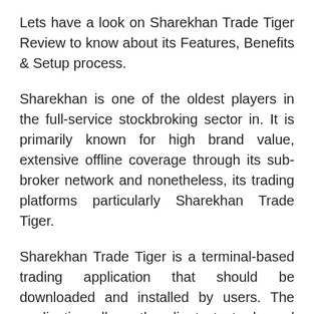Lets have a look on Sharekhan Trade Tiger Review to know about its Features, Benefits & Setup process.
Sharekhan is one of the oldest players in the full-service stockbroking sector in. It is primarily known for high brand value, extensive offline coverage through its sub-broker network and nonetheless, its trading platforms particularly Sharekhan Trade Tiger.
Sharekhan Trade Tiger is a terminal-based trading application that should be downloaded and installed by users. The application allows the clients to trade and invest across segments including Equity, Currency, Commodity and Derivative Trading. The most interesting part of using Sharekhan Trade Tiger...